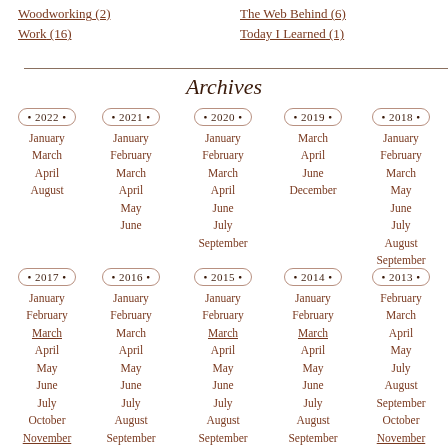Woodworking (2)
Work (16)
The Web Behind (6)
Today I Learned (1)
Archives
2022: January, March, April, August
2021: January, February, March, April, May, June
2020: January, February, March, April, June, July, September
2019: March, April, June, December
2018: January, February, March, May, June, July, August, September
2017: January, February, March, April, May, June, July, October, November, December
2016: January, February, March, April, May, June, July, August, September, October
2015: January, February, March, April, May, June, July, August, September, October
2014: January, February, March, April, May, June, July, August, September, November
2013: February, March, April, May, July, August, September, October, November